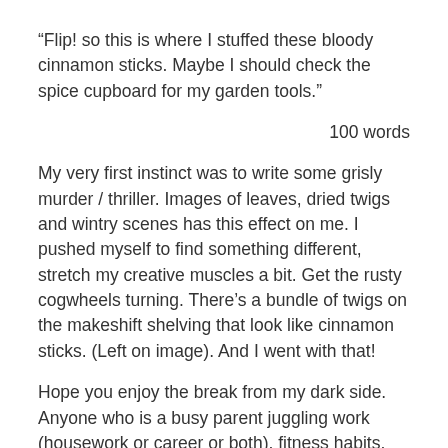“Flip! so this is where I stuffed these bloody cinnamon sticks. Maybe I should check the spice cupboard for my garden tools.”
100 words
My very first instinct was to write some grisly murder / thriller. Images of leaves, dried twigs and wintry scenes has this effect on me. I pushed myself to find something different, stretch my creative muscles a bit. Get the rusty cogwheels turning. There’s a bundle of twigs on the makeshift shelving that look like cinnamon sticks. (Left on image). And I went with that!
Hope you enjoy the break from my dark side. Anyone who is a busy parent juggling work (housework or career or both), fitness habits, hobbies, child-rearing will know that feeling of confusion upon discovering misplaced items.